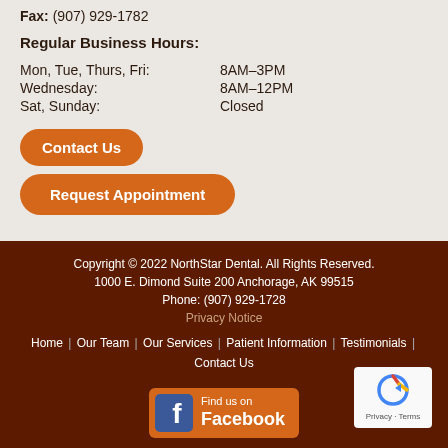Fax: (907) 929-1782
Regular Business Hours:
| Mon, Tue, Thurs, Fri: | 8AM–3PM |
| Wednesday: | 8AM–12PM |
| Sat, Sunday: | Closed |
Contact Us
Request Appointment
Copyright © 2022 NorthStar Dental. All Rights Reserved. 1000 E. Dimond Suite 200 Anchorage, AK 99515 Phone: (907) 929-1728 Privacy Notice
Home | Our Team | Our Services | Patient Information | Testimonials | Contact Us
[Figure (logo): Find us on Facebook badge with orange background and Facebook logo icon]
[Figure (logo): reCAPTCHA badge with circular arrow icon, Privacy and Terms links]
Website Designed By Alaska Search Marketing